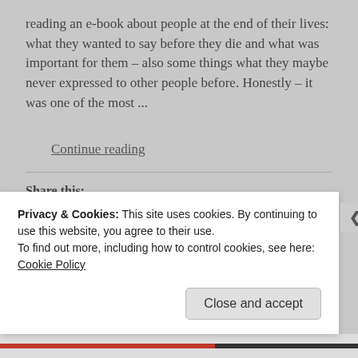reading an e-book about people at the end of their lives: what they wanted to say before they die and what was important for them – also some things what they maybe never expressed to other people before. Honestly – it was one of the most ...
Continue reading
Share this:
Twitter  Facebook  Pinterest
[Figure (photo): Row of user avatar thumbnails partially visible]
Privacy & Cookies: This site uses cookies. By continuing to use this website, you agree to their use.
To find out more, including how to control cookies, see here:
Cookie Policy
Close and accept